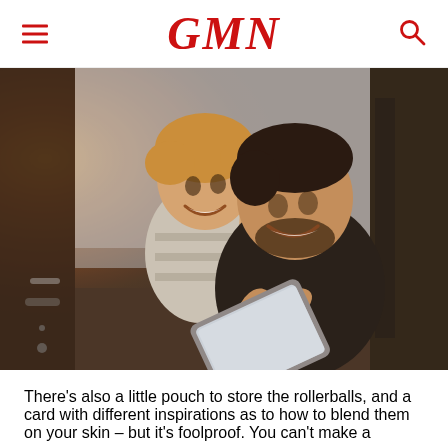GMN
[Figure (photo): A man and a young boy sitting in the open back of a dark SUV/van, both smiling and looking at a tablet device. Warm natural lighting.]
There's also a little pouch to store the rollerballs, and a card with different inspirations as to how to blend them on your skin – but it's foolproof. You can't make a